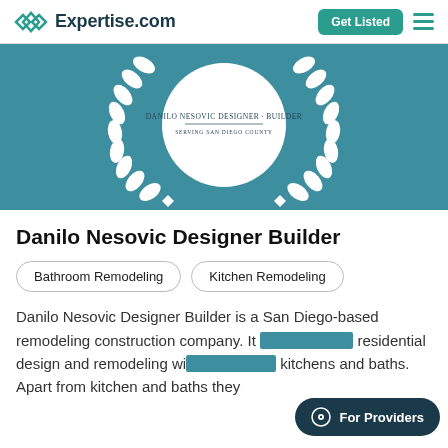Expertise.com | Get Listed
[Figure (logo): Expertise.com logo with teal diamond/infinity icon]
[Figure (illustration): Teal banner with white laurel wreath and circular logo containing text 'Danilo Nesovic Designer Builder - Serving San Diego County']
Danilo Nesovic Designer Builder
Bathroom Remodeling
Kitchen Remodeling
Danilo Nesovic Designer Builder is a San Diego-based remodeling construction company. It specializes in residential design and remodeling with a focus on kitchens and baths. Apart from kitchen and baths they